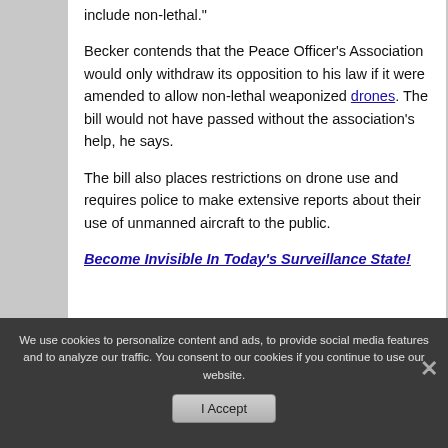include non-lethal."
Becker contends that the Peace Officer's Association would only withdraw its opposition to his law if it were amended to allow non-lethal weaponized drones. The bill would not have passed without the association's help, he says.
The bill also places restrictions on drone use and requires police to make extensive reports about their use of unmanned aircraft to the public.
Become Invisible In Today’s Surveillance State!
We use cookies to personalize content and ads, to provide social media features and to analyze our traffic. You consent to our cookies if you continue to use our website.